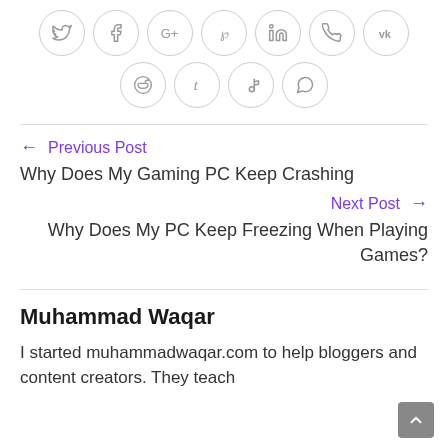[Figure (other): Two rows of social media share icon circles: Twitter, Facebook, Google+, Pinterest, LinkedIn, Phone, VK in first row; Reddit, Tumblr, Delicious/music, WhatsApp in second row. All icons are grey outlined circles.]
← Previous Post
Why Does My Gaming PC Keep Crashing
Next Post →
Why Does My PC Keep Freezing When Playing Games?
Muhammad Waqar
I started muhammadwaqar.com to help bloggers and content creators. They teach